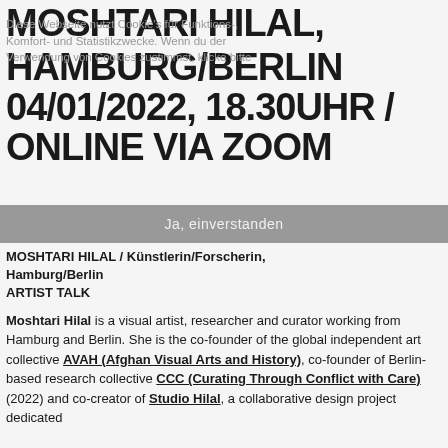MOSHTARI HILAL, HAMBURG/BERLIN 04/01/2022, 18.30UHR / ONLINE VIA ZOOM
Diese Webseite nutzt Cookie's für Funktions-, Komfort- und Statistikzwecke. Wenn du der Verwendung von Cookies zustimmst, klicke bitte
Ja, einverstanden
MOSHTARI HILAL / Künstlerin/Forscherin, Hamburg/Berlin
ARTIST TALK
Moshtari Hilal is a visual artist, researcher and curator working from Hamburg and Berlin. She is the co-founder of the global independent art collective AVAH (Afghan Visual Arts and History), co-founder of Berlin-based research collective CCC (Curating Through Conflict with Care) (2022) and co-creator of Studio Hilal, a collaborative design project dedicated